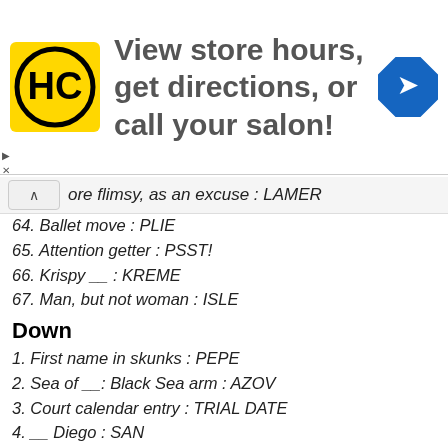[Figure (other): Advertisement banner for HC (Hair Club?) salon showing logo, text 'View store hours, get directions, or call your salon!' and a blue navigation icon]
ore flimsy, as an excuse : LAMER
64. Ballet move : PLIE
65. Attention getter : PSST!
66. Krispy __ : KREME
67. Man, but not woman : ISLE
Down
1. First name in skunks : PEPE
2. Sea of __: Black Sea arm : AZOV
3. Court calendar entry : TRIAL DATE
4. __ Diego : SAN
5. Silvery food fish : SMELTS
6. Airport waiter : TAXI
7. Dealership lot array : AUTOS
8. At risk of being slapped : FRESH
9. A longevity : FAR